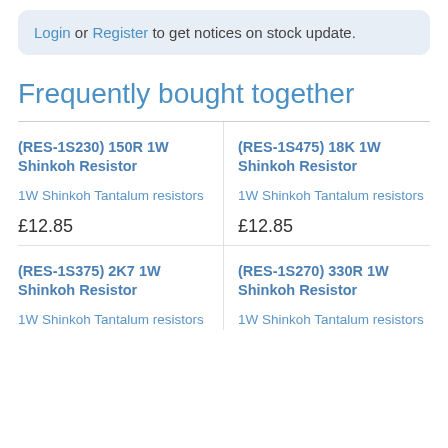Login or Register to get notices on stock update.
Frequently bought together
(RES-1S230) 150R 1W Shinkoh Resistor
1W Shinkoh Tantalum resistors
£12.85
(RES-1S475) 18K 1W Shinkoh Resistor
1W Shinkoh Tantalum resistors
£12.85
(RES-1S375) 2K7 1W Shinkoh Resistor
1W Shinkoh Tantalum resistors
(RES-1S270) 330R 1W Shinkoh Resistor
1W Shinkoh Tantalum resistors